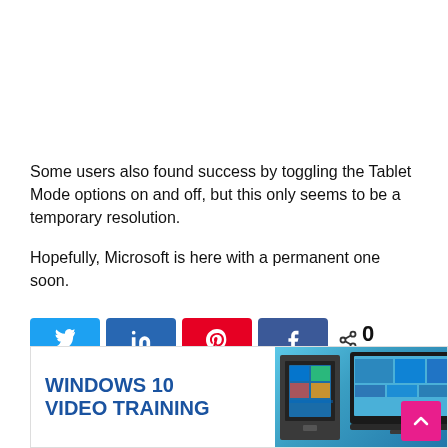Some users also found success by toggling the Tablet Mode options on and off, but this only seems to be a temporary resolution.
Hopefully, Microsoft is here with a permanent one soon.
[Figure (infographic): Social share bar with Twitter, LinkedIn, Pinterest, Facebook buttons and a share count of 0 SHARES]
[Figure (infographic): Promotional banner for Windows 10 Video Training with blue text on white background and a photo of a PC with Windows 10 screen]